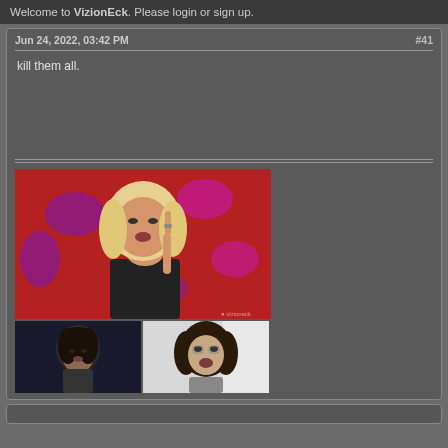Welcome to VizionEck. Please login or sign up.
Jun 24, 2022, 03:42 PM
#41
kill them all.
[Figure (photo): Three photos: top large image shows a blonde woman giving the middle finger against a red background; bottom left shows a dark-haired woman in low light; bottom right shows a dark-haired woman with mouth open against a light background.]